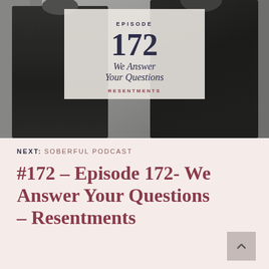[Figure (photo): Black and white photo of two people wearing dark winter jackets, standing side by side outdoors]
EPISODE
172
We Answer Your Questions
RESENTMENTS
NEXT: SOBERFUL PODCAST
#172 – Episode 172- We Answer Your Questions – Resentments